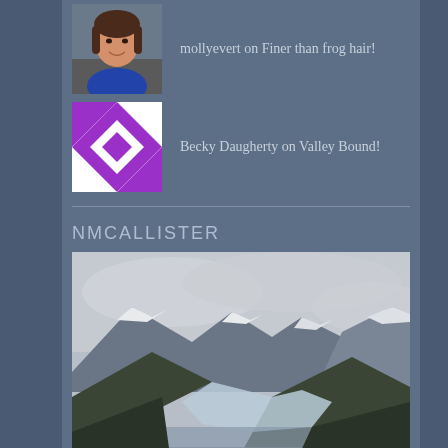[Figure (photo): Small profile photo of a woman with brown hair wearing a blue top, smiling]
mollyevert on Finer than frog hair!
[Figure (illustration): Purple and white patterned quilt square avatar]
Becky Daugherty on Valley Bound!
NMCALLISTER
[Figure (photo): Landscape photograph of snow-capped mountains with a glacier and water in the foreground under a cloudy sky]